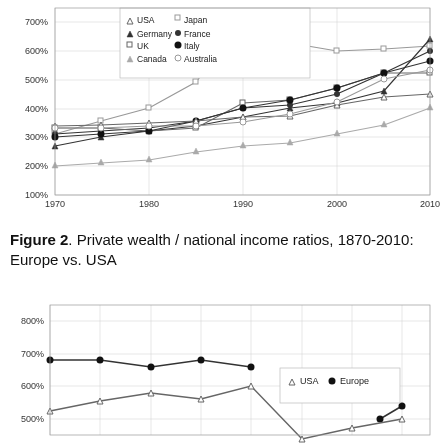[Figure (line-chart): Private wealth / national income ratios, 1970-2010: Rich countries]
Figure 2. Private wealth / national income ratios, 1870-2010: Europe vs. USA
[Figure (line-chart): Private wealth / national income ratios, 1870-2010: Europe vs. USA]